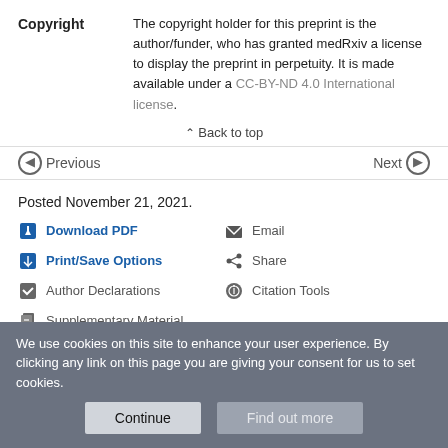Copyright — The copyright holder for this preprint is the author/funder, who has granted medRxiv a license to display the preprint in perpetuity. It is made available under a CC-BY-ND 4.0 International license.
Back to top
Previous   Next
Posted November 21, 2021.
Download PDF
Email
Print/Save Options
Share
Author Declarations
Citation Tools
Supplementary Material
We use cookies on this site to enhance your user experience. By clicking any link on this page you are giving your consent for us to set cookies.